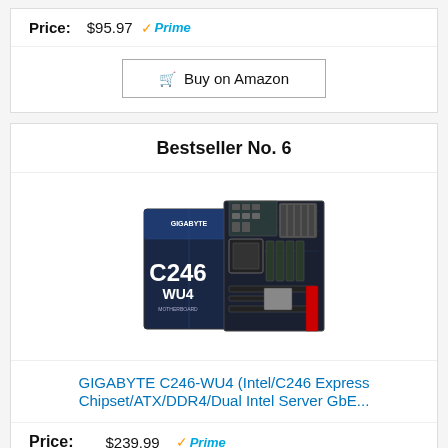Price: $95.97 Prime
Buy on Amazon
Bestseller No. 6
[Figure (photo): GIGABYTE C246-WU4 motherboard product photo with box]
GIGABYTE C246-WU4 (Intel/C246 Express Chipset/ATX/DDR4/Dual Intel Server GbE...
Price: $239.99 Prime